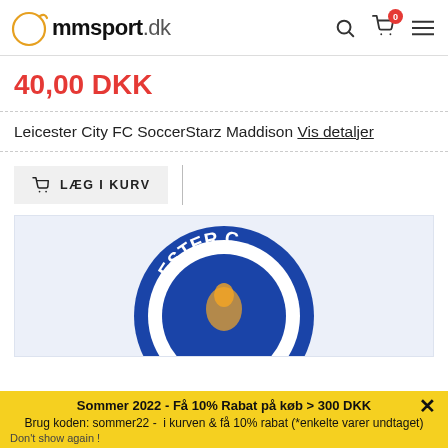mmsport.dk
40,00 DKK
Leicester City FC SoccerStarz Maddison Vis detaljer
LÆG I KURV
[Figure (logo): Leicester City FC badge/crest illustration, blue and white circular logo with text ESTER visible]
Sommer 2022 - Få 10% Rabat på køb > 300 DKK
Brug koden: sommer22 - i kurven & få 10% rabat (*enkelte varer undtaget)
Don't show again !